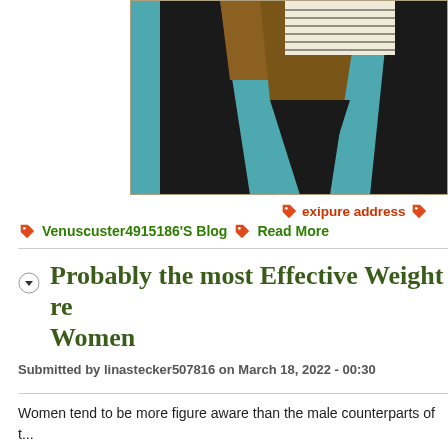[Figure (illustration): Abstract geometric artwork with teal/blue diagonal shapes, brown angular forms, and a striped rectangular element at the top, with dark background.]
🏷 exipure address 🏷
🏷 Venuscuster4915186'S Blog 🏷 Read More
Probably the most Effective Weight re... Women
Submitted by linastecker507816 on March 18, 2022 - 00:30
Women tend to be more figure aware than the male counterparts of t... them searching the industry for the most effective weight loss supple...